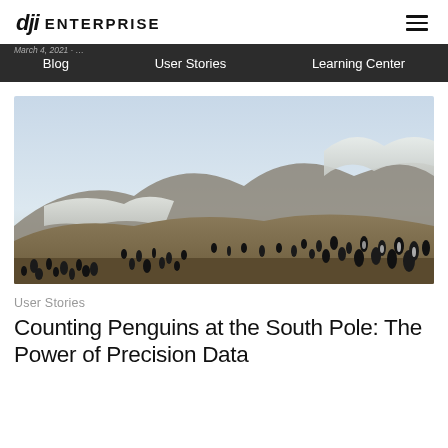DJI ENTERPRISE
[Figure (photo): Aerial/ground-level photograph of a large colony of penguins on a rocky hillside with snow-capped mountains and pale sky in the background, taken in Antarctica near the South Pole.]
User Stories
Counting Penguins at the South Pole: The Power of Precision Data